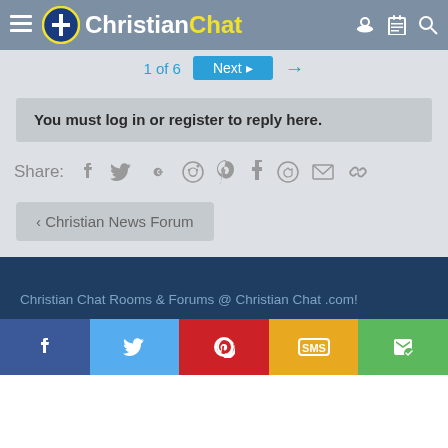ChristianChat
1 of 6  Next →
You must log in or register to reply here.
Share: [social icons]
< Christian News Forum
Christian Chat Rooms & Forums @ Christian Chat .com!